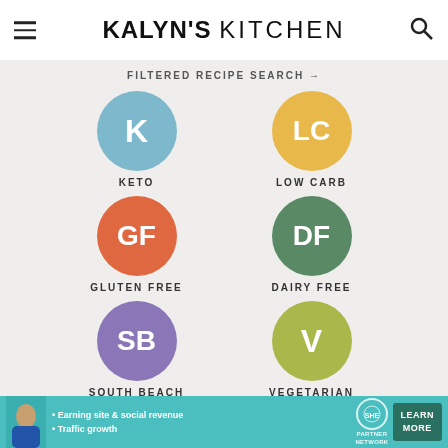KALYN'S KITCHEN
FILTERED RECIPE SEARCH →
[Figure (infographic): Six diet category icons in a 2x3 grid: KETO (blue circle, K), LOW CARB (yellow circle, LC), GLUTEN FREE (orange circle, GF), DAIRY FREE (green circle, DF), SOUTH BEACH (purple circle, SB), VEGETARIAN (yellow-green circle, V)]
[Figure (infographic): Advertisement banner for SHE Partner Network with text: Earning site & social revenue, Traffic growth. Includes LEARN MORE button.]